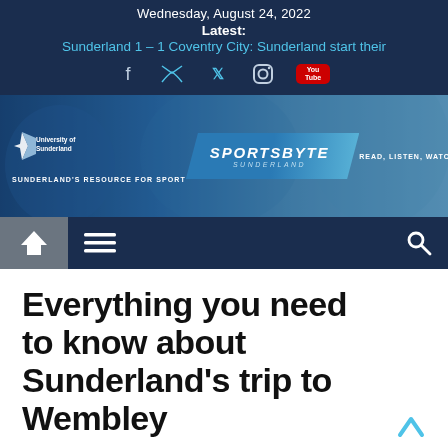Wednesday, August 24, 2022
Latest:
Sunderland 1 – 1 Coventry City: Sunderland start their
[Figure (screenshot): Social media icons: Facebook, Twitter, Instagram, YouTube]
[Figure (logo): SportsByte Sunderland banner with University of Sunderland logo, tagline SUNDERLAND'S RESOURCE FOR SPORT and READ, LISTEN, WATCH, SHARE]
[Figure (screenshot): Navigation bar with home icon, hamburger menu, and search icon]
Everything you need to know about Sunderland's trip to Wembley
13th May 2022   Fletcher Jackson